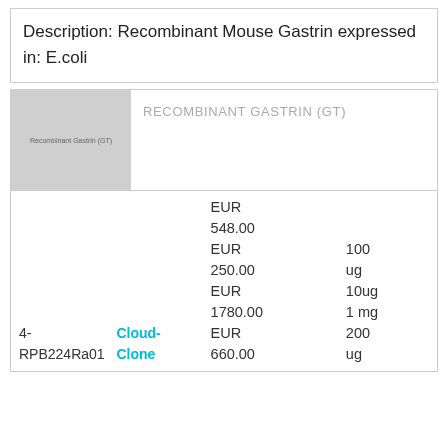Description: Recombinant Mouse Gastrin expressed in: E.coli
[Figure (other): Product image placeholder showing Recombinant Gastrin (GT) with gray background]
| ID | Supplier | Price | Quantity |
| --- | --- | --- | --- |
| 4-RPB224Ra01 | Cloud-Clone | EUR 548.00
EUR 250.00
EUR 1780.00
EUR 660.00 | 100 ug
10ug
1 mg
200 ug |